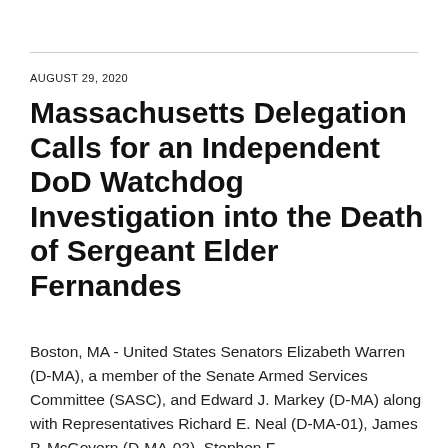AUGUST 29, 2020
Massachusetts Delegation Calls for an Independent DoD Watchdog Investigation into the Death of Sergeant Elder Fernandes
Boston, MA - United States Senators Elizabeth Warren (D-MA), a member of the Senate Armed Services Committee (SASC), and Edward J. Markey (D-MA) along with Representatives Richard E. Neal (D-MA-01), James P. McGovern (D-MA-02), Stephen F.